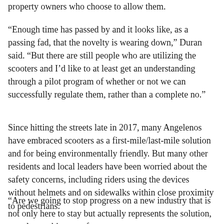property owners who choose to allow them.
“Enough time has passed by and it looks like, as a passing fad, that the novelty is wearing down,” Duran said. “But there are still people who are utilizing the scooters and I’d like to at least get an understanding through a pilot program of whether or not we can successfully regulate them, rather than a complete no.”
Since hitting the streets late in 2017, many Angelenos have embraced scooters as a first-mile/last-mile solution and for being environmentally friendly. But many other residents and local leaders have been worried about the safety concerns, including riders using the devices without helmets and on sidewalks within close proximity to pedestrians.
“Are we going to stop progress on a new industry that is not only here to stay but actually represents the solution, or at least a big part of a